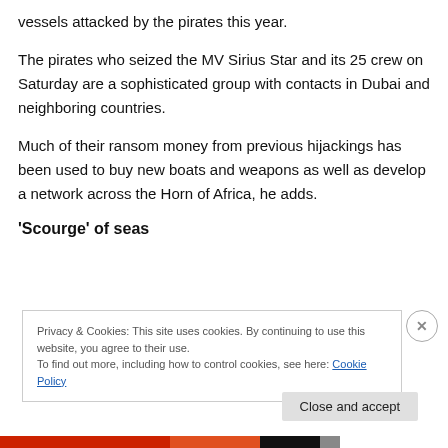vessels attacked by the pirates this year.
The pirates who seized the MV Sirius Star and its 25 crew on Saturday are a sophisticated group with contacts in Dubai and neighboring countries.
Much of their ransom money from previous hijackings has been used to buy new boats and weapons as well as develop a network across the Horn of Africa, he adds.
‘Scourge’ of seas
Privacy & Cookies: This site uses cookies. By continuing to use this website, you agree to their use.
To find out more, including how to control cookies, see here: Cookie Policy